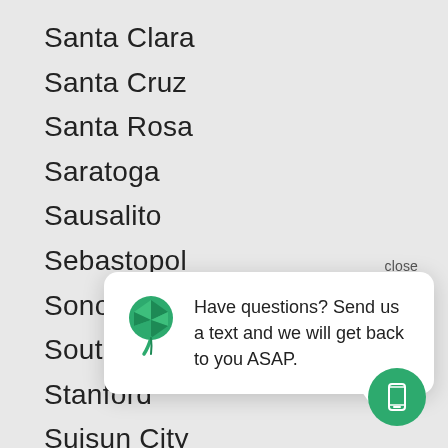Santa Clara
Santa Cruz
Santa Rosa
Saratoga
Sausalito
Sebastopol
Sonoma
South San Fra
Stanford
Suisun City
Sunnyvale
Ti...
close
[Figure (infographic): Chat popup with green leaf logo and text: Have questions? Send us a text and we will get back to you ASAP. Green SMS button in bottom right corner.]